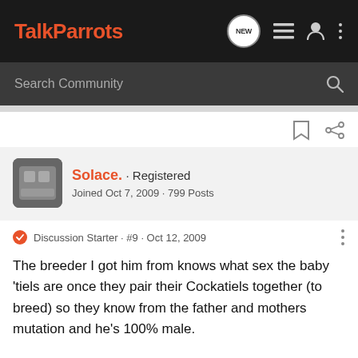TalkParrots
Search Community
Solace. · Registered
Joined Oct 7, 2009 · 799 Posts
Discussion Starter · #9 · Oct 12, 2009
The breeder I got him from knows what sex the baby 'tiels are once they pair their Cockatiels together (to breed) so they know from the father and mothers mutation and he's 100% male.